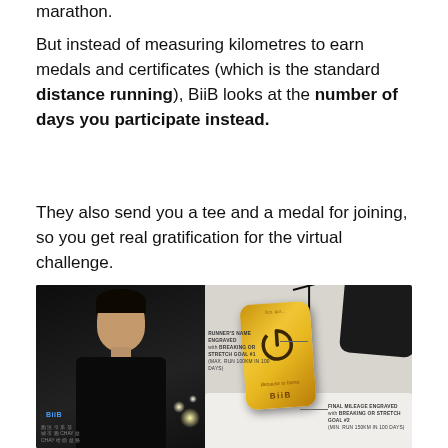But instead of measuring kilometres to earn medals and certificates (which is the standard distance running), BiiB looks at the number of days you participate instead.
They also send you a tee and a medal for joining, so you get real gratification for the virtual challenge.
[Figure (photo): Left side: a man wearing a black BiiB t-shirt with Chinese text, photographed at night outdoors. Right side: a gold BiiB dog-tag style medal with a power button icon engraved, hanging on a black cord, resting on a white surface next to a dark phone. Annotation labels read 'RUNNER'S NAME ENGRAVED with BREAKING or STRETCH GOAL #1 (Max. run 100KM in 100 Days)' and 'FINAL MILEAGE ENGRAVED with BREAKING or STRETCH GOAL #2 (Min. run 150KM in 100 Days)'.]